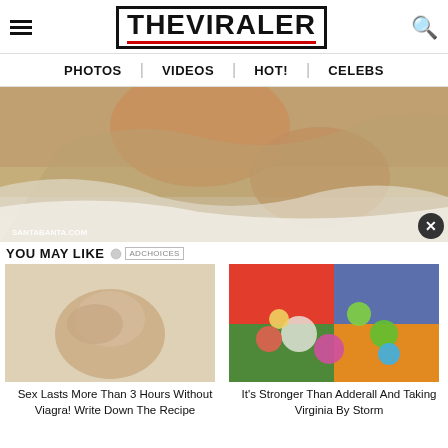THE VIRALER
PHOTOS | VIDEOS | HOT! | CELEBS
[Figure (photo): Woman in black bikini at beach, watermark SANTABANTA.COM]
YOU MAY LIKE  ADCHOICES
[Figure (photo): Close-up of fingertip/skin]
Sex Lasts More Than 3 Hours Without Viagra! Write Down The Recipe
[Figure (photo): Colorful candy/toy figures on bright background]
It's Stronger Than Adderall And Taking Virginia By Storm